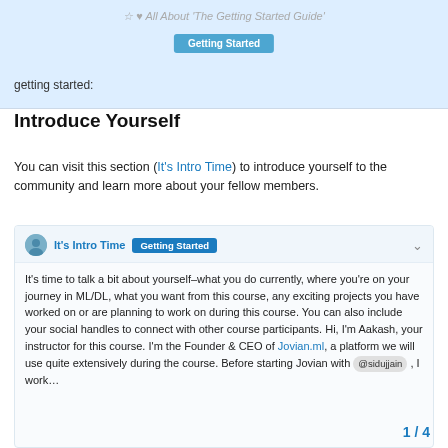All About 'The Getting Started Guide'
getting started:
Introduce Yourself
You can visit this section (It's Intro Time) to introduce yourself to the community and learn more about your fellow members.
[Figure (screenshot): A forum post card titled 'It's Intro Time' with a 'Getting Started' badge. Body text: It's time to talk a bit about yourself–what you do currently, where you're on your journey in ML/DL, what you want from this course, any exciting projects you have worked on or are planning to work on during this course. You can also include your social handles to connect with other course participants. Hi, I'm Aakash, your instructor for this course. I'm the Founder & CEO of Jovian.ml, a platform we will use quite extensively during the course. Before starting Jovian with @sidujjain , I work…]
1 / 4